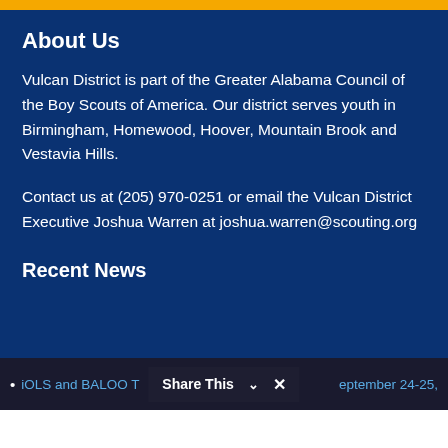About Us
Vulcan District is part of the Greater Alabama Council of the Boy Scouts of America. Our district serves youth in Birmingham, Homewood, Hoover, Mountain Brook and Vestavia Hills.
Contact us at (205) 970-0251 or email the Vulcan District Executive Joshua Warren at joshua.warren@scouting.org
Recent News
iOLS and BALOO Training September 24-25, 2022